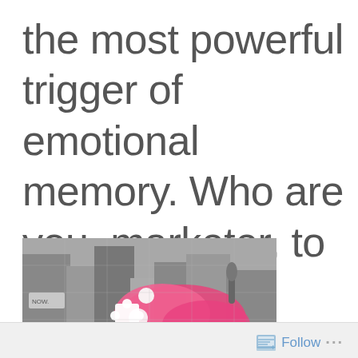the most powerful trigger of emotional memory. Who are you, marketer, to tell me how I should feel?
[Figure (photo): A collage/puzzle image showing a mix of black-and-white city scenes with pink puzzle pieces overlaid, appearing to be a decorative marketing or blog image.]
Follow ...